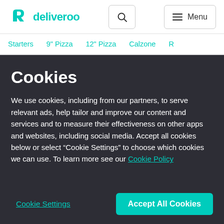deliveroo
Starters  9" Pizza  12" Pizza  Calzone  R
Cookies
We use cookies, including from our partners, to serve relevant ads, help tailor and improve our content and services and to measure their effectiveness on other apps and websites, including social media. Accept all cookies below or select “Cookie Settings” to choose which cookies we can use. To learn more see our Cookie Policy
Cookie Settings | Accept All Cookies